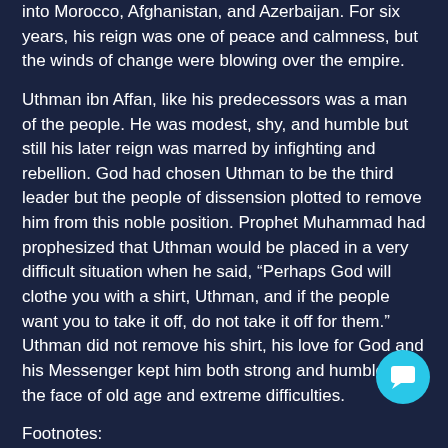into Morocco, Afghanistan, and Azerbaijan. For six years, his reign was one of peace and calmness, but the winds of change were blowing over the empire.
Uthman ibn Affan, like his predecessors was a man of the people. He was modest, shy, and humble but still his later reign was marred by infighting and rebellion. God had chosen Uthman to be the third leader but the people of dissension plotted to remove him from this noble position. Prophet Muhammad had prophesized that Uthman would be placed in a very difficult situation when he said, “Perhaps God will clothe you with a shirt, Uthman, and if the people want you to take it off, do not take it off for them.” Uthman did not remove his shirt, his love for God and his Messenger kept him both strong and humble in the face of old age and extreme difficulties.
Footnotes:
The Sealed Nectar. Safi Ur Rahman Al Mubarakpuri.